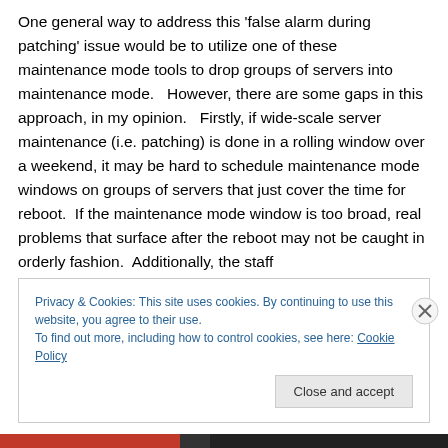One general way to address this 'false alarm during patching' issue would be to utilize one of these maintenance mode tools to drop groups of servers into maintenance mode.   However, there are some gaps in this approach, in my opinion.   Firstly, if wide-scale server maintenance (i.e. patching) is done in a rolling window over a weekend, it may be hard to schedule maintenance mode windows on groups of servers that just cover the time for reboot.  If the maintenance mode window is too broad, real problems that surface after the reboot may not be caught in orderly fashion.  Additionally, the staff
Privacy & Cookies: This site uses cookies. By continuing to use this website, you agree to their use.
To find out more, including how to control cookies, see here: Cookie Policy
Close and accept